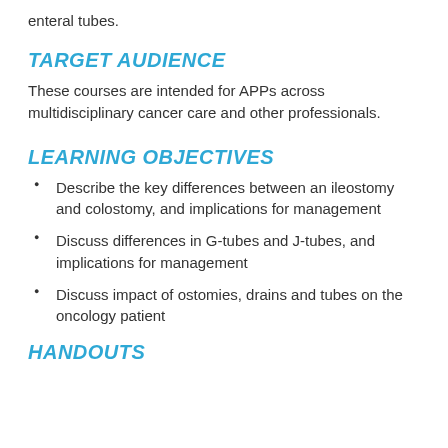enteral tubes.
TARGET AUDIENCE
These courses are intended for APPs across multidisciplinary cancer care and other professionals.
LEARNING OBJECTIVES
Describe the key differences between an ileostomy and colostomy, and implications for management
Discuss differences in G-tubes and J-tubes, and implications for management
Discuss impact of ostomies, drains and tubes on the oncology patient
HANDOUTS